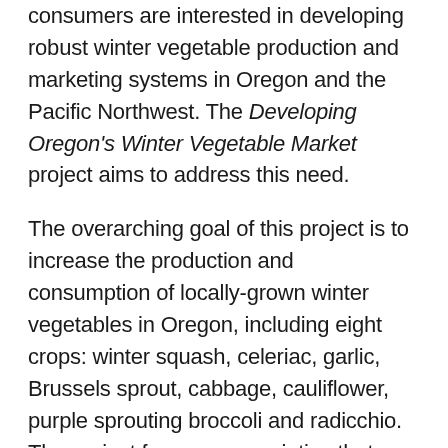consumers are interested in developing robust winter vegetable production and marketing systems in Oregon and the Pacific Northwest. The Developing Oregon's Winter Vegetable Market project aims to address this need.
The overarching goal of this project is to increase the production and consumption of locally-grown winter vegetables in Oregon, including eight crops: winter squash, celeriac, garlic, Brussels sprout, cabbage, cauliflower, purple sprouting broccoli and radicchio. The project focuses on varieties that have been shown to be high performing (yield/quality/ winter hardiness/ storability) and have good market potential in past vegetable variety trial